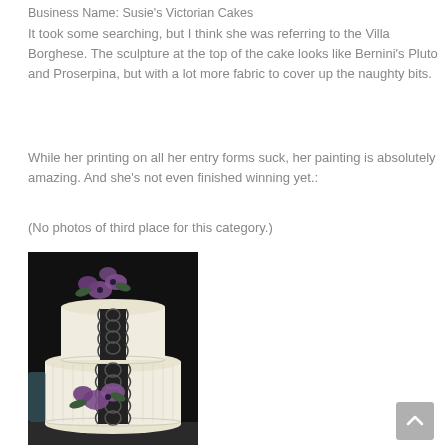Business Name: Susie's Victorian Cakes
It took some searching, but I think she was referring to the Villa Borghese. The sculpture at the top of the cake looks like Bernini's Pluto and Proserpina, but with a lot more fabric to cover up the naughty bits.
While her printing on all her entry forms suck, her painting is absolutely amazing. And she's not even finished winning yet.:
(No photos of third place for this category.)
[Figure (photo): A two-tiered white wedding cake with black lace decoration running vertically and purple flowers on top and bottom tiers, against a dark background.]